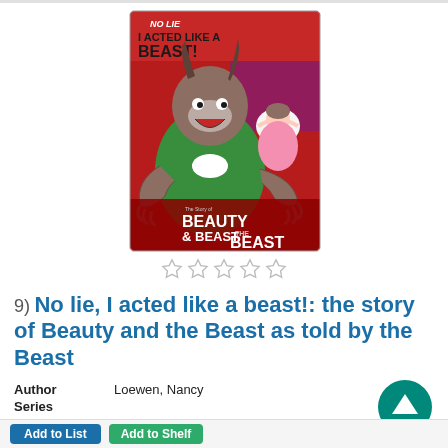[Figure (illustration): Book cover of 'No lie, I acted like a BEAST! The story of Beauty and the Beast as told by the Beast' showing a cartoon beast character in a green jacket with arms outstretched, and Beauty in background. Red banner at top reads 'NO LIE I ACTED LIKE A BEAST!']
[Figure (other): Five empty/outline star rating icons]
9) No lie, I acted like a beast!: the story of Beauty and the Beast as told by the Beast
Author   Loewen, Nancy
Series
The other side of the story